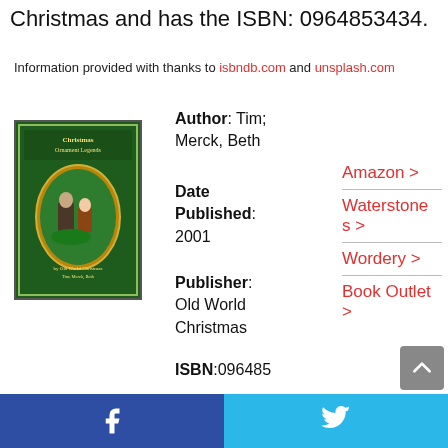Christmas and has the ISBN: 0964853434.
Information provided with thanks to isbndb.com and unsplash.com
[Figure (illustration): Book cover of 'Christmas Ornament Legends' with green background and oval illustration showing Christmas scene]
Author: Tim; Merck, Beth
Date Published: 2001
Publisher: Old World Christmas
ISBN:096485
Amazon >
Waterstones >
Wordery >
Book Outlet >